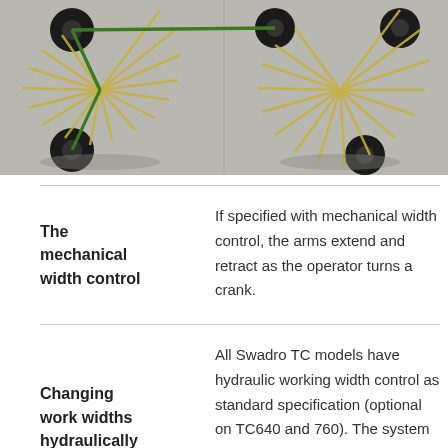[Figure (photo): Aerial or overhead photograph of Swadro TC agricultural tedder/raking machine with green arms and black wheels on a concrete surface, showing two rotary units from above.]
| The mechanical width control | If specified with mechanical width control, the arms extend and retract as the operator turns a crank. |
| Changing work widths hydraulically | All Swadro TC models have hydraulic working width control as standard specification (optional on TC640 and 760). The system comes with a large scale that helps the operators |